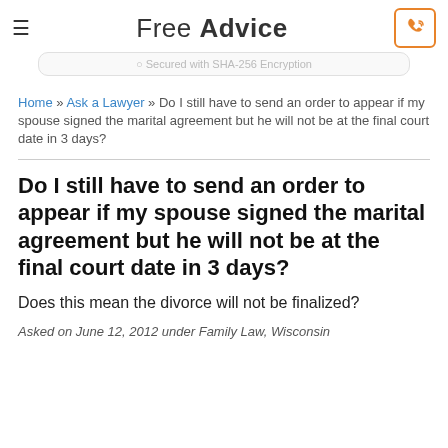Free Advice
Secured with SHA-256 Encryption
Home » Ask a Lawyer » Do I still have to send an order to appear if my spouse signed the marital agreement but he will not be at the final court date in 3 days?
Do I still have to send an order to appear if my spouse signed the marital agreement but he will not be at the final court date in 3 days?
Does this mean the divorce will not be finalized?
Asked on June 12, 2012 under Family Law, Wisconsin